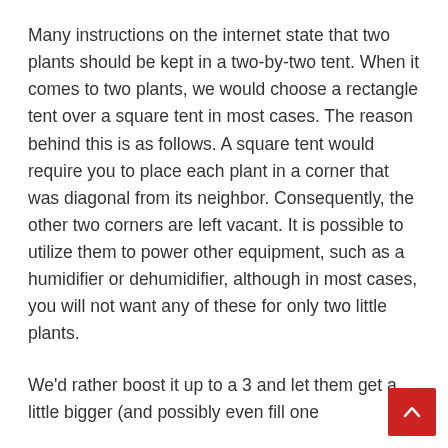Many instructions on the internet state that two plants should be kept in a two-by-two tent. When it comes to two plants, we would choose a rectangle tent over a square tent in most cases. The reason behind this is as follows. A square tent would require you to place each plant in a corner that was diagonal from its neighbor. Consequently, the other two corners are left vacant. It is possible to utilize them to power other equipment, such as a humidifier or dehumidifier, although in most cases, you will not want any of these for only two little plants.
We'd rather boost it up to a 3 and let them get a little bigger (and possibly even fill one